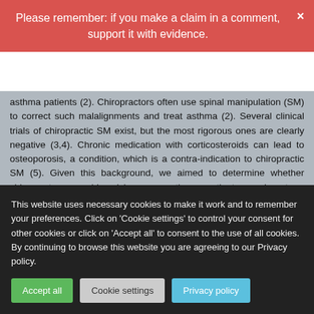Please remember: if you make a claim in a comment, support it with evidence.
asthma patients (2). Chiropractors often use spinal manipulation (SM) to correct such malalignments and treat asthma (2). Several clinical trials of chiropractic SM exist, but the most rigorous ones are clearly negative (3,4). Chronic medication with corticosteroids can lead to osteoporosis, a condition, which is a contra-indication to chiropractic SM (5). Given this background, we aimed to determine whether chiropractors would advise an asthma patient on long-term corticosteroids (5 years) to try chiropractic as a treatment for this condition.
All 350 e-mail addresses listed at www.interadcom.com/chiro/html were randomised into two groups. A (deceptive) letter from a (fictitious) patient was sent to group A while group B was asked for advice on chiropractic treatment for asthma as part of a research
This website uses necessary cookies to make it work and to remember your preferences. Click on 'Cookie settings' to control your consent for other cookies or click on 'Accept all' to consent to the use of all cookies. By continuing to browse this website you are agreeing to our Privacy policy.